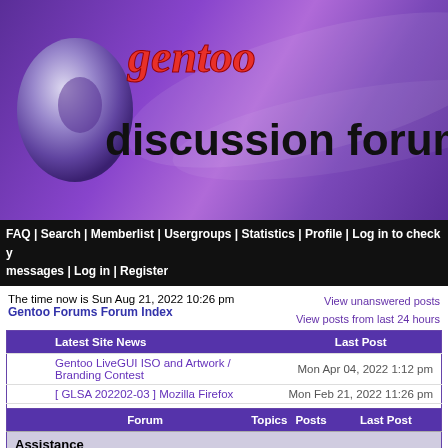[Figure (logo): Gentoo Discussion Forums banner with purple gradient background, Gentoo G logo, red italic 'gentoo' text, and black 'discussion forums' text]
FAQ | Search | Memberlist | Usergroups | Statistics | Profile | Log in to check your messages | Log in | Register
The time now is Sun Aug 21, 2022 10:26 pm
Gentoo Forums Forum Index
View unanswered posts
View posts from last 24 hours
|  | Latest Site News | Last Post |
| --- | --- | --- |
|  | Gentoo LiveGUI ISO and Artwork / Branding Contest | Mon Apr 04, 2022 1:12 pm |
|  | [ GLSA 202202-03 ] Mozilla Firefox | Mon Feb 21, 2022 11:26 pm |
|  | [ GLSA 202202-02 ] Chromium, Google Chrome | Sun Feb 20, 2022 11:26 pm |
| Forum | Topics | Posts | Last Post |
| --- | --- | --- | --- |
| Assistance |  |  |  |
| News & Announcements
Read this before submitting your first post to any forum
Moderator Global Moderators | 3613 | 3672 | Mon Apr 04, 2022 1:12 pm
NeddySeagoon |